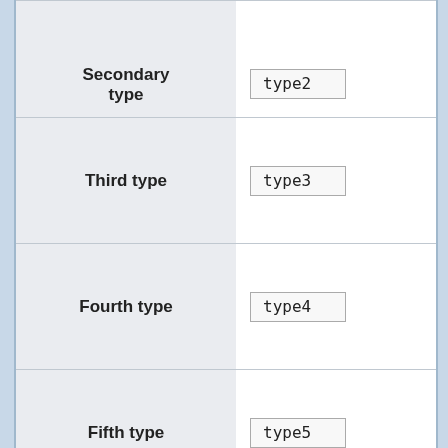| Field | Value |
| --- | --- |
| Secondary type | type2 |
| Third type | type3 |
| Fourth type | type4 |
| Fifth type | type5 |
| Sixth type | type6 |